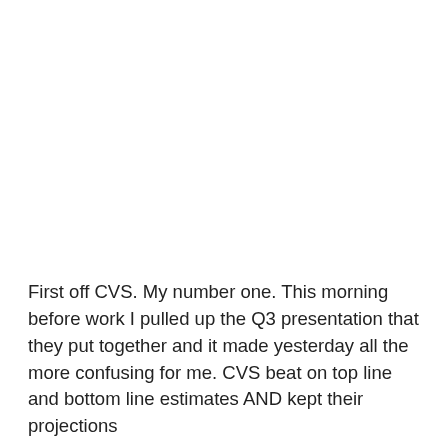First off CVS. My number one. This morning before work I pulled up the Q3 presentation that they put together and it made yesterday all the more confusing for me. CVS beat on top line and bottom line estimates AND kept their projections